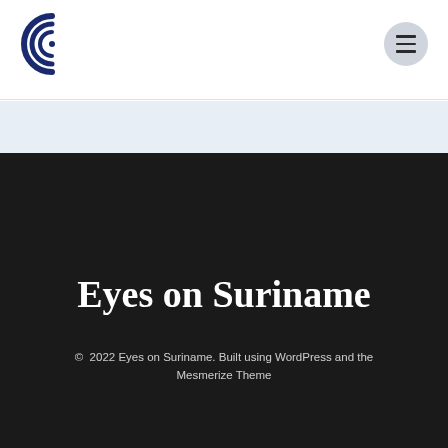[Figure (logo): Eyes on Suriname logo — circular concentric arc 'C' shape in dark navy blue, with text 'eyes on suriname' beside it]
[Figure (other): Hamburger menu button — circular grey button with three horizontal lines]
Eyes on Suriname
© 2022 Eyes on Suriname. Built using WordPress and the Mesmerize Theme